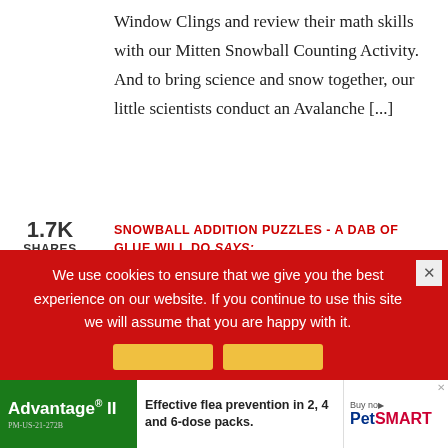Window Clings and review their math skills with our Mitten Snowball Counting Activity. And to bring science and snow together, our little scientists conduct an Avalanche [...]
1.7K
SHARES
SNOWBALL ADDITION PUZZLES - A DAB OF GLUE WILL DO says:
JANUARY 15, 2019 AT 3:29 AM
[...] we are beginning to learn the concept of number sense, we play our Mitten Snowball Counting Activity They ask to play this activity over and over [...]
We use cookies to ensure that we give you the best experience on our website. If you continue to use this site we will assume that you are happy with it.
[Figure (other): Cookie notice close button (×)]
[Figure (other): Advertisement banner: Advantage II flea prevention product ad with PetSmart logo]